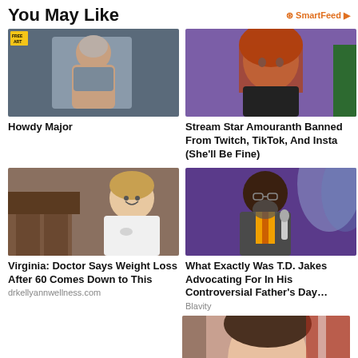You May Like
[Figure (photo): Woman in athletic wear with face shield outdoor sculpture]
Howdy Major
[Figure (photo): Red-haired woman in black top against purple background]
Stream Star Amouranth Banned From Twitch, TikTok, And Insta (She'll Be Fine)
[Figure (photo): Doctor woman with stethoscope next to legs photo]
Virginia: Doctor Says Weight Loss After 60 Comes Down to This
drkellyannwellness.com
[Figure (photo): TD Jakes speaking at event with microphone on purple stage]
What Exactly Was T.D. Jakes Advocating For In His Controversial Father's Day…
Blavity
[Figure (photo): Woman with hair pulled back in front of flags, partial view]